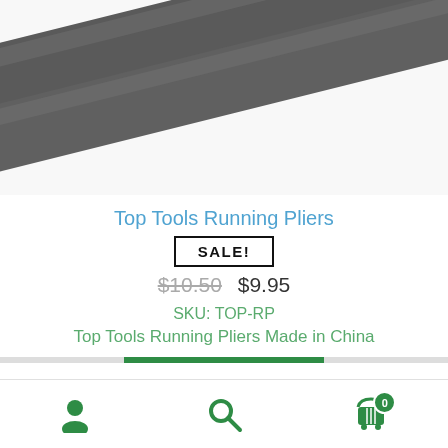[Figure (photo): Close-up photo of dark gray/charcoal colored pliers handles against a white background]
Top Tools Running Pliers
SALE!
$10.50  $9.95
SKU: TOP-RP
Top Tools Running Pliers Made in China